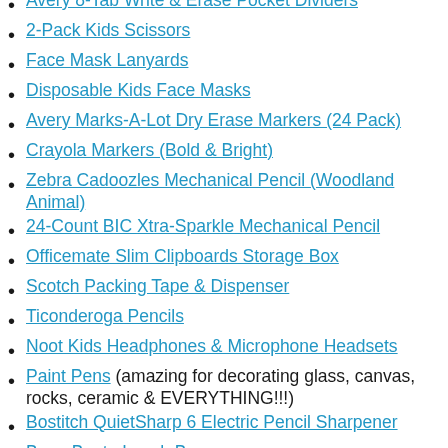Avery 8-Tab Write & Erase Pocket Dividers
2-Pack Kids Scissors
Face Mask Lanyards
Disposable Kids Face Masks
Avery Marks-A-Lot Dry Erase Markers (24 Pack)
Crayola Markers (Bold & Bright)
Zebra Cadoozles Mechanical Pencil (Woodland Animal)
24-Count BIC Xtra-Sparkle Mechanical Pencil
Officemate Slim Clipboards Storage Box
Scotch Packing Tape & Dispenser
Ticonderoga Pencils
Noot Kids Headphones & Microphone Headsets
Paint Pens (amazing for decorating glass, canvas, rocks, ceramic & EVERYTHING!!!)
Bostitch QuietSharp 6 Electric Pencil Sharpener
Boon Bento Lunch Box